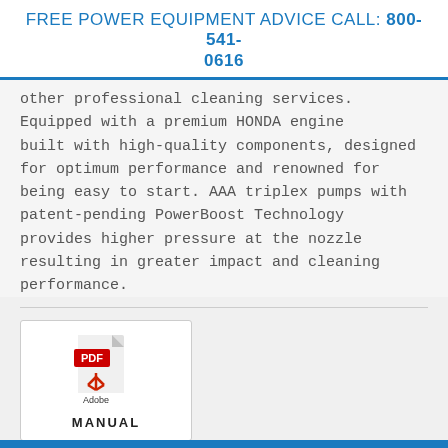FREE POWER EQUIPMENT ADVICE CALL: 800-541-0616
other professional cleaning services. Equipped with a premium HONDA engine built with high-quality components, designed for optimum performance and renowned for being easy to start. AAA triplex pumps with patent-pending PowerBoost Technology provides higher pressure at the nozzle resulting in greater impact and cleaning performance.
[Figure (illustration): Adobe PDF icon with 'MANUAL' label below, shown as a clickable card with white background and grey border]